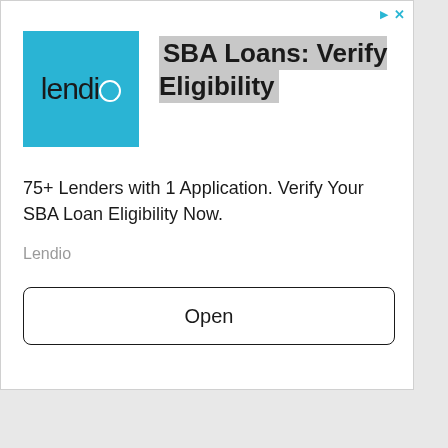[Figure (logo): Lendio logo — white text 'lendio' on a cyan/sky-blue square background]
SBA Loans: Verify Eligibility
75+ Lenders with 1 Application. Verify Your SBA Loan Eligibility Now.
Lendio
Open